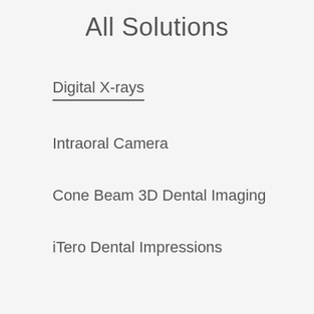All Solutions
Digital X-rays
Intraoral Camera
Cone Beam 3D Dental Imaging
iTero Dental Impressions